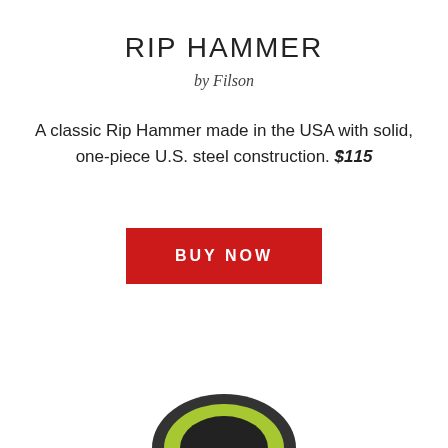RIP HAMMER
by Filson
A classic Rip Hammer made in the USA with solid, one-piece U.S. steel construction. $115
[Figure (other): Red BUY NOW button]
[Figure (photo): Bottom portion of a product image showing a circular object with lime green and dark grey colors, partially visible at the bottom of the page]